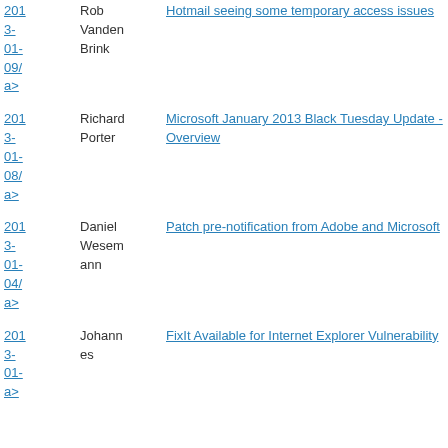2013-01-09/ a> | Rob Vanden Brink | Hotmail seeing some temporary access issues
2013-01-08/ a> | Richard Porter | Microsoft January 2013 Black Tuesday Update - Overview
2013-01-04/ a> | Daniel Wesemann | Patch pre-notification from Adobe and Microsoft
2013-01-  / a> | Johannes | FixIt Available for Internet Explorer Vulnerability